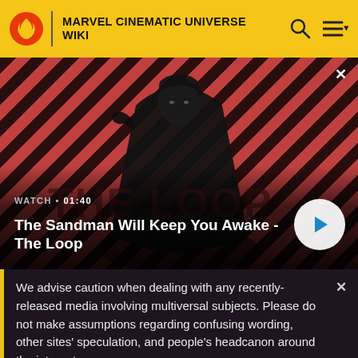MARVEL CINEMATIC UNIVERSE WIKI
[Figure (screenshot): Video thumbnail showing a gothic figure in a black cape with a raven on shoulder, against a red diagonal striped background. Title: 'The Sandman Will Keep You Awake - The Loop'. Watch duration 01:40.]
[Figure (photo): Small thumbnail strip showing a green/beige map-like image]
We advise caution when dealing with any recently-released media involving multiversal subjects. Please do not make assumptions regarding confusing wording, other sites' speculation, and people's headcanon around the internet.